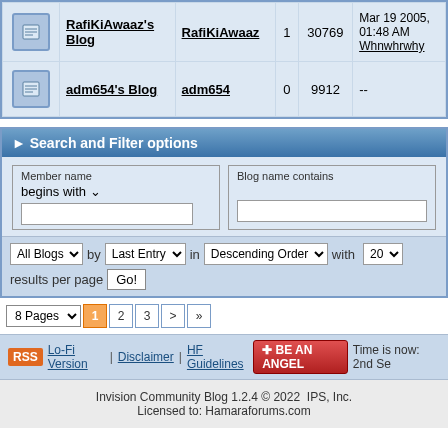|  | Blog Name | Author | Entries | Views | Last Entry |
| --- | --- | --- | --- | --- | --- |
| [icon] | RafiKiAwaaz's Blog | RafiKiAwaaz | 1 | 30769 | Mar 19 2005, 01:48 AM Whnwhrwhy |
| [icon] | adm654's Blog | adm654 | 0 | 9912 | -- |
Search and Filter options
Member name begins with
Blog name contains
All Blogs by Last Entry in Descending Order with 20 results per page Go!
8 Pages 1 2 3 > »
RSS Lo-Fi Version | Disclaimer | HF Guidelines + BE AN ANGEL Time is now: 2nd Se
Invision Community Blog 1.2.4 © 2022 IPS, Inc. Licensed to: Hamaraforums.com